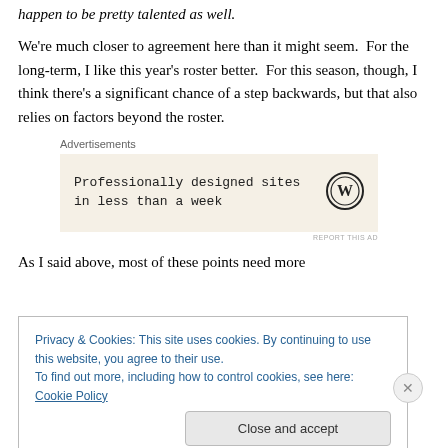happen to be pretty talented as well.
We're much closer to agreement here than it might seem.  For the long-term, I like this year's roster better.  For this season, though, I think there's a significant chance of a step backwards, but that also relies on factors beyond the roster.
[Figure (other): Advertisement box with WordPress logo: 'Professionally designed sites in less than a week']
As I said above, most of these points need more
Privacy & Cookies: This site uses cookies. By continuing to use this website, you agree to their use.
To find out more, including how to control cookies, see here: Cookie Policy